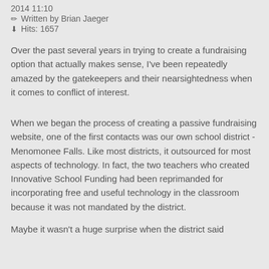2014 11:10
✏ Written by Brian Jaeger
⬇ Hits: 1657
Over the past several years in trying to create a fundraising option that actually makes sense, I've been repeatedly amazed by the gatekeepers and their nearsightedness when it comes to conflict of interest.
When we began the process of creating a passive fundraising website, one of the first contacts was our own school district - Menomonee Falls. Like most districts, it outsourced for most aspects of technology. In fact, the two teachers who created Innovative School Funding had been reprimanded for incorporating free and useful technology in the classroom because it was not mandated by the district.
Maybe it wasn't a huge surprise when the district said